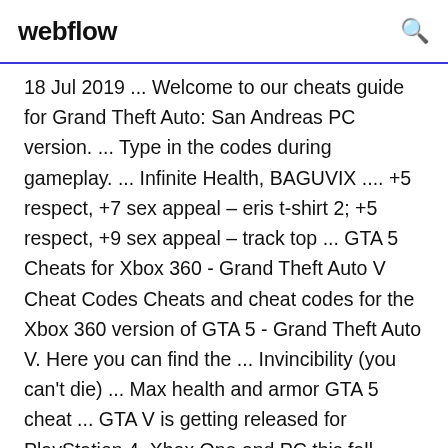webflow
18 Jul 2019 ... Welcome to our cheats guide for Grand Theft Auto: San Andreas PC version. ... Type in the codes during gameplay. ... Infinite Health, BAGUVIX .... +5 respect, +7 sex appeal – eris t-shirt 2; +5 respect, +9 sex appeal – track top ... GTA 5 Cheats for Xbox 360 - Grand Theft Auto V Cheat Codes Cheats and cheat codes for the Xbox 360 version of GTA 5 - Grand Theft Auto V. Here you can find the ... Invincibility (you can't die) ... Max health and armor GTA 5 cheat ... GTA V is getting released for PlayStation 4, Xbox One and PC this fall ... New GTA 5 Cell Phone Cheats - GameNGadgets 20 Jan 2016 ... Now, in GTA 5 cellphone cheats vary from codes to cell phone numbers, Others will